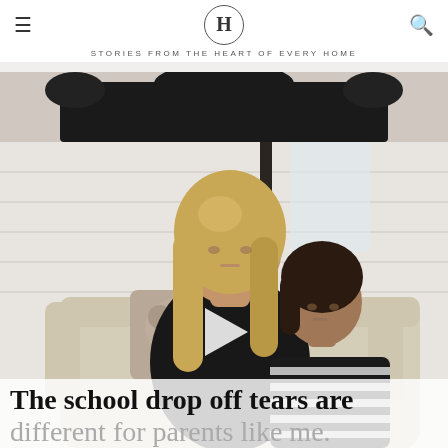H — STORIES FROM THE HEART OF EVERY HOME
[Figure (photo): Cropped photo showing the torso of a person wearing a black top, visible from chin/neck downward.]
[Figure (photo): A woman with long blonde hair wearing a black sleeveless top sits on a cream sofa, hugging a young child in a black-and-white striped shirt. A floral pillow is visible behind them. A video play button is overlaid on the image.]
The school drop off tears are different for parents like me.